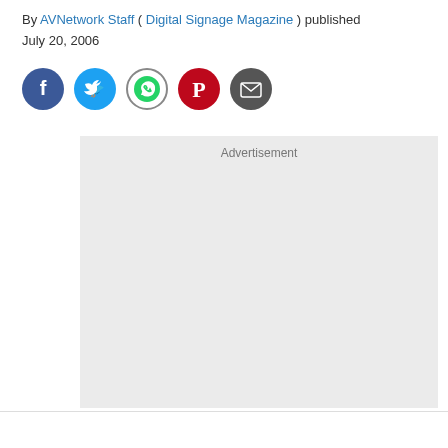By AVNetwork Staff ( Digital Signage Magazine ) published July 20, 2006
[Figure (infographic): Row of 5 social sharing icon circles: Facebook (blue), Twitter (light blue), WhatsApp (white with border), Pinterest (red), Email (dark grey)]
[Figure (other): Advertisement placeholder box with light grey background and 'Advertisement' label at top center]